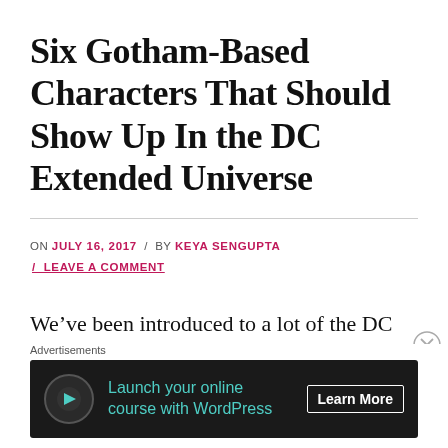Six Gotham-Based Characters That Should Show Up In the DC Extended Universe
ON JULY 16, 2017 / BY KEYA SENGUPTA / LEAVE A COMMENT
We’ve been introduced to a lot of the DC Extended Universe’s interpretations of DC characters, and we have confirmation that
[Figure (other): Advertisement banner: Launch your online course with WordPress. Learn More button. Dark background with teal text.]